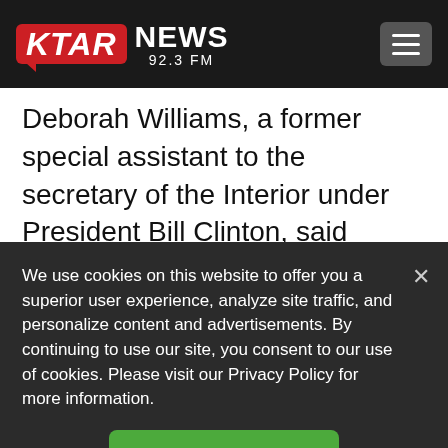KTAR NEWS 92.3 FM
Deborah Williams, a former special assistant to the secretary of the Interior under President Bill Clinton, said Congress made clear in the legislation that it had two purposes: conservation and the protection of subsistence.
We use cookies on this website to offer you a superior user experience, analyze site traffic, and personalize content and advertisements. By continuing to use our site, you consent to our use of cookies. Please visit our Privacy Policy for more information.